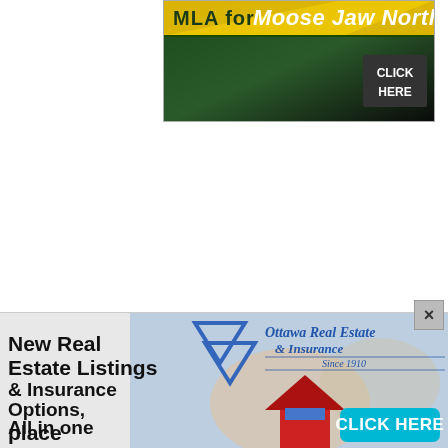[Figure (screenshot): Top banner advertisement for MLA for Moose Jaw North with dark green background and CLICK HERE button]
[Figure (screenshot): Bottom banner advertisement for Ottawa Real Estate & Insurance showing text 'New Real Estate Listings & Insurance Options, All in one place' with logo, house photo, and CLICK HERE button]